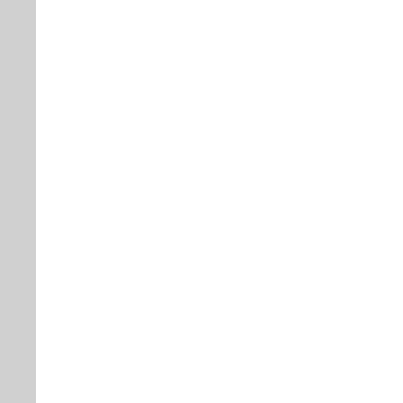| Column 1 | Column 2 |
| --- | --- |
| Fridge repairing in Delhi | Fridge repair service in Delhi |
| Fridge Repairs in Delhi | Bottom mount Fridge repair service centre in Delhi |
| Top mount Fridge repair service centre in Delhi | Side by Side Fridge repair service centre in Delhi |
| French Door Fridge repair | Double Door Fridge repair service |